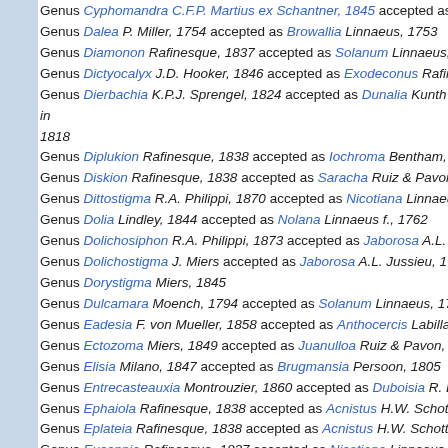Genus Cyphomandra C.F.P. Martius ex Schantner, 1845 accepted as Solanum
Genus Dalea P. Miller, 1754 accepted as Browallia Linnaeus, 1753
Genus Diamonon Rafinesque, 1837 accepted as Solanum Linnaeus, 1
Genus Dictyocalyx J.D. Hooker, 1846 accepted as Exodeconus Rafines
Genus Dierbachia K.P.J. Sprengel, 1824 accepted as Dunalia Kunth in 1818
Genus Diplukion Rafinesque, 1838 accepted as Iochroma Bentham, 18
Genus Diskion Rafinesque, 1838 accepted as Saracha Ruiz & Pavon,
Genus Dittostigma R.A. Philippi, 1870 accepted as Nicotiana Linnaeus
Genus Dolia Lindley, 1844 accepted as Nolana Linnaeus f., 1762
Genus Dolichosiphon R.A. Philippi, 1873 accepted as Jaborosa A.L. Ju
Genus Dolichostigma J. Miers accepted as Jaborosa A.L. Jussieu, 178
Genus Dorystigma Miers, 1845
Genus Dulcamara Moench, 1794 accepted as Solanum Linnaeus, 175
Genus Eadesia F. von Mueller, 1858 accepted as Anthocercis Labillard
Genus Ectozoma Miers, 1849 accepted as Juanulloa Ruiz & Pavon, 17
Genus Elisia Milano, 1847 accepted as Brugmansia Persoon, 1805
Genus Entrecasteauxia Montrouzier, 1860 accepted as Duboisia R. Bro
Genus Ephaiola Rafinesque, 1838 accepted as Acnistus H.W. Schott,
Genus Eplateia Rafinesque, 1838 accepted as Acnistus H.W. Schott, 1
Genus Eucapnia Rafinesque, 1837 accepted as Nicotiana Linnaeus, 17
Genus Evoista Rafinesque, 1838 accepted as Lycium Linnaeus, 1753
Genus Fontqueriella Rothmaler in Font Quer & Rothmaler, 1940 accep
Genus Franciscea Pohl, 1826 accepted as Brunfelsia Linnaeus, 1753
Genus Fregirardia Dunal ex Delile, 1849 accepted as Cestrum Linnaeus
Genus Gubleria Gaudichaud-Beaupré, 1851 accepted as Nolana Linna
Genus Guincula accepted as Quincula Rafinesque, 1832